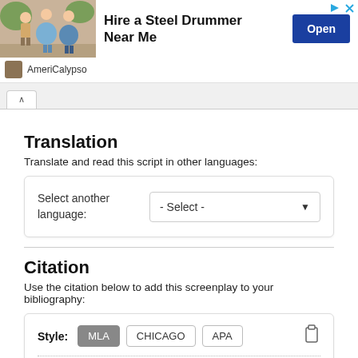[Figure (screenshot): Advertisement banner: image of people dancing, text 'Hire a Steel Drummer Near Me', Open button, AmeriCalypso brand]
[Figure (screenshot): Tab bar with a back/up arrow chevron tab button]
Translation
Translate and read this script in other languages:
[Figure (screenshot): Card with 'Select another language:' label and a dropdown '- Select -']
Citation
Use the citation below to add this screenplay to your bibliography:
[Figure (screenshot): Citation card with Style buttons: MLA (active), CHICAGO, APA and clipboard icon, with dotted line at bottom]